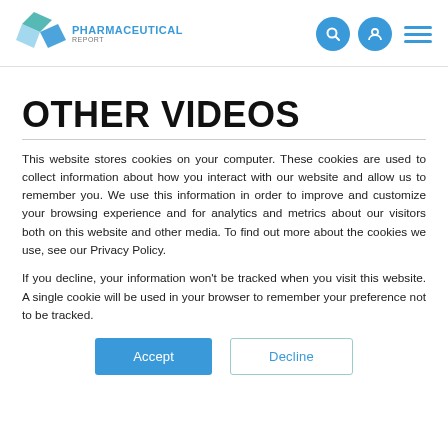PHARMACEUTICAL REPORT
OTHER VIDEOS
This website stores cookies on your computer. These cookies are used to collect information about how you interact with our website and allow us to remember you. We use this information in order to improve and customize your browsing experience and for analytics and metrics about our visitors both on this website and other media. To find out more about the cookies we use, see our Privacy Policy.
If you decline, your information won't be tracked when you visit this website. A single cookie will be used in your browser to remember your preference not to be tracked.
Accept | Decline